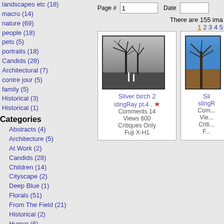landscapes etc (18)
macro (14)
nature (69)
people (18)
pets (5)
portraits (18)
Candids (28)
Architectural (7)
contre jour (5)
family (5)
Historical (3)
Historical (1)
Categories
Abstracts (4)
Architecture (5)
At Work (2)
Candids (28)
Children (14)
Cityscape (2)
Deep Blue (1)
Florals (51)
From The Field (21)
Historical (2)
Humor (6)
Landscape (10)
Macro (25)
Minimalist (1)
Nature (66)
Others (1)
People (21)
Pets (7)
Portrait (20)
Seascapes (8)
Street (3)
Transportation (1)
Travel (2)
Underwater (1)
Page # 1   Date
There are 155 ima
1 2 3 4 5
[Figure (photo): Black and white photo of silver birch trees in a field]
Silver birch 2
stingRay pt.4 . ★
Comments 14
Views 600
Critiques Only
Fuji X-H1
[Figure (photo): Color photo of a tree against blue sky with earthy ground]
Sil...
stingR...
Com...
Vie...
Criti...
F...